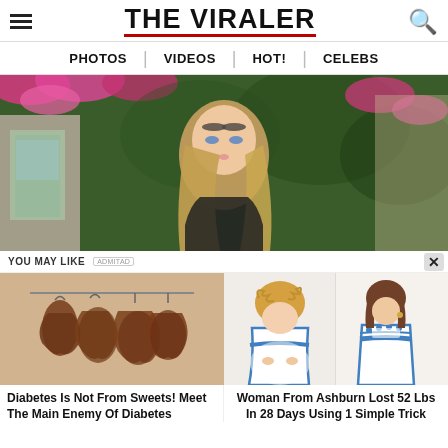THE VIRALER
PHOTOS | VIDEOS | HOT! | CELEBS
[Figure (photo): Young woman with long blonde hair standing in front of a green ivy-covered wall with pink flowers and a pink building]
YOU MAY LIKE
[Figure (photo): Dried vegetables or fruit hanging on a string]
Diabetes Is Not From Sweets! Meet The Main Enemy Of Diabetes
[Figure (photo): Before and after weight loss photo of a woman in a white and blue dress]
Woman From Ashburn Lost 52 Lbs In 28 Days Using 1 Simple Trick